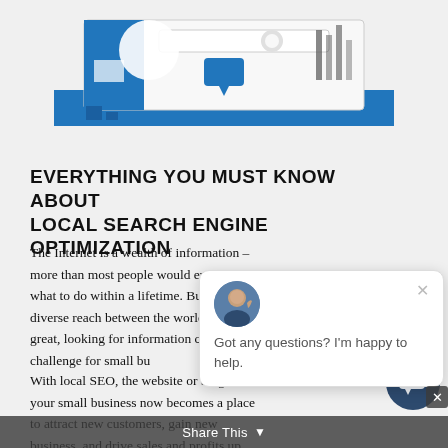[Figure (illustration): Partial illustration of a stylized browser/search interface with blue, grey and white shapes representing a local search concept. Only the bottom portion is visible at the top of the page.]
EVERYTHING YOU MUST KNOW ABOUT LOCAL SEARCH ENGINE OPTIMIZATION
The Internet is a wealth of information – more than most people would ever know what to do within a lifetime. But while the diverse reach between the world may be great, looking for information can be a challenge for small bu[siness owners].
With local SEO, the website or blog for your small business now becomes a place to attract new customers, gain new business, and drive sales and profits up.
[Figure (screenshot): A chat popup widget showing an avatar of a man in a suit, an X close button, and the text 'Got any questions? I'm happy to help.']
[Figure (infographic): A dark blue circular chat button icon at the bottom right of the page.]
Share This ▾